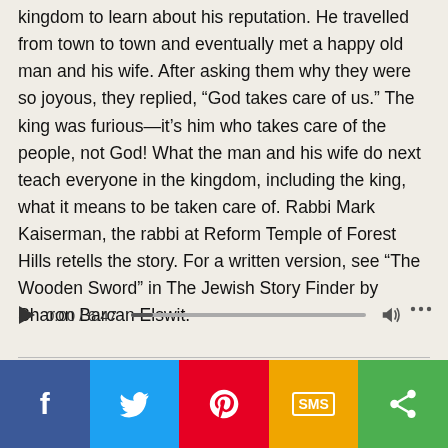kingdom to learn about his reputation. He travelled from town to town and eventually met a happy old man and his wife. After asking them why they were so joyous, they replied, “God takes care of us.” The king was furious—it’s him who takes care of the people, not God! What the man and his wife do next teach everyone in the kingdom, including the king, what it means to be taken care of. Rabbi Mark Kaiserman, the rabbi at Reform Temple of Forest Hills retells the story. For a written version, see “The Wooden Sword” in The Jewish Story Finder by Sharon Barcan Elswit.
[Figure (other): Audio player showing 0:00 / 6:47 with play button, progress bar, volume icon, and more options icon]
[Figure (infographic): Social sharing bar with Facebook, Twitter, Pinterest, SMS, and share buttons]